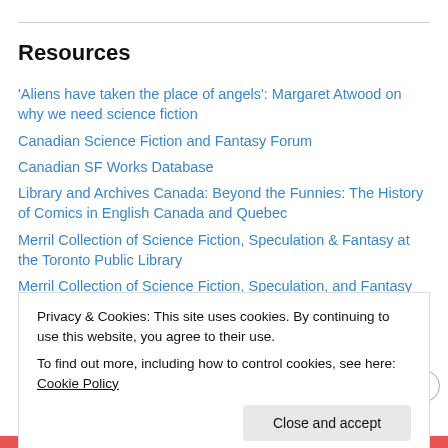Resources
'Aliens have taken the place of angels': Margaret Atwood on why we need science fiction
Canadian Science Fiction and Fantasy Forum
Canadian SF Works Database
Library and Archives Canada: Beyond the Funnies: The History of Comics in English Canada and Quebec
Merril Collection of Science Fiction, Speculation & Fantasy at the Toronto Public Library
Merril Collection of Science Fiction, Speculation, and Fantasy
NCF Guide to Canadian SF
Privacy & Cookies: This site uses cookies. By continuing to use this website, you agree to their use.
To find out more, including how to control cookies, see here: Cookie Policy